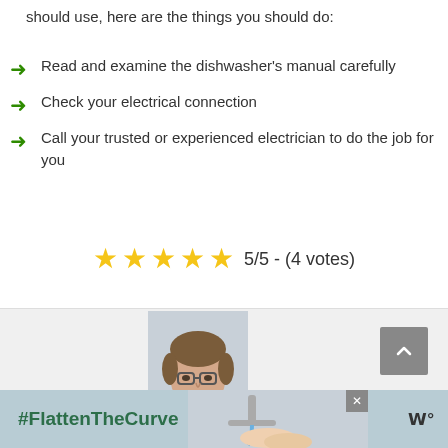should use, here are the things you should do:
Read and examine the dishwasher's manual carefully
Check your electrical connection
Call your trusted or experienced electrician to do the job for you
[Figure (infographic): 5-star rating display with 5 gold stars and text: 5/5 - (4 votes)]
[Figure (photo): Photo of a young man with glasses and facial stubble]
[Figure (screenshot): Advertisement banner with #FlattenTheCurve text and image of hands washing under faucet, with a close button and logo]